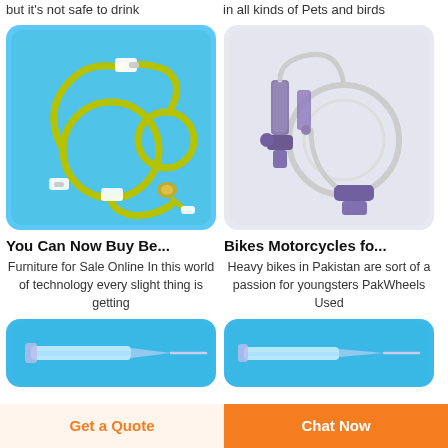but it's not safe to drink
in all kinds of Pets and birds
[Figure (photo): Medical feeding tube / IV line set coiled on blue background]
[Figure (photo): Medical IV infusion set with purple connectors on light grey/white background]
You Can Now Buy Be...
Furniture for Sale Online In this world of technology every slight thing is getting
Bikes Motorcycles fo...
Heavy bikes in Pakistan are sort of a passion for youngsters PakWheels Used
[Figure (photo): Medical needle/syringe on blue background]
[Figure (photo): Medical needle/catheter on blue background]
Get a Quote
Chat Now